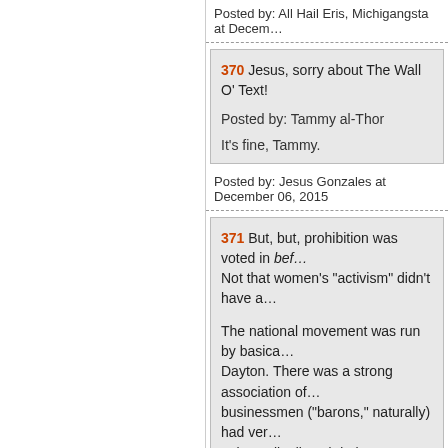Posted by: All Hail Eris, Michigangsta at Decem…
370 Jesus, sorry about The Wall O' Text!

Posted by: Tammy al-Thor

It's fine, Tammy.
Posted by: Jesus Gonzales at December 06, 2015
371 But, but, prohibition was voted in bef… Not that women's "activism" didn't have a…

The national movement was run by basica… Dayton. There was a strong association of… businessmen ("barons," naturally) had ver… universally dissed during WWI. The camp…
Posted by: Stringer Davis at December 06, 2015
372 Posted by: Local Bootlegger at Decem…